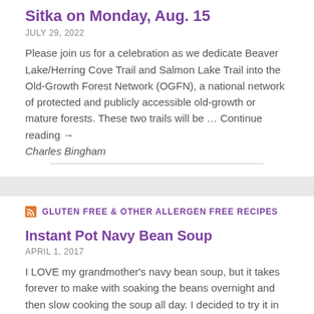Sitka on Monday, Aug. 15
JULY 29, 2022
Please join us for a celebration as we dedicate Beaver Lake/Herring Cove Trail and Salmon Lake Trail into the Old-Growth Forest Network (OGFN), a national network of protected and publicly accessible old-growth or mature forests. These two trails will be … Continue reading → Charles Bingham
GLUTEN FREE & OTHER ALLERGEN FREE RECIPES
Instant Pot Navy Bean Soup
APRIL 1, 2017
I LOVE my grandmother's navy bean soup, but it takes forever to make with soaking the beans overnight and then slow cooking the soup all day. I decided to try it in my Instant Pot and it was a success! Not only that, but my kids loved it... Ingredients: 1-2 Tbs. olive oil 1 onion, diced 3 [...]
Megan